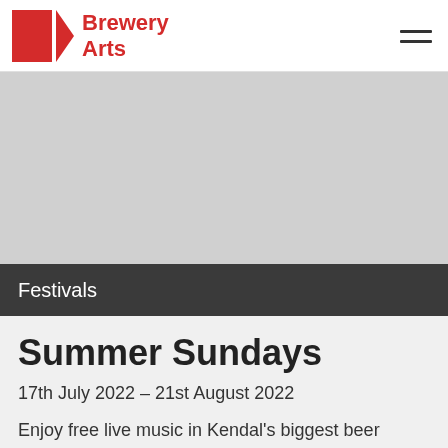Brewery Arts
[Figure (photo): Hero image placeholder – light grey rectangle representing a festival/event photo]
Festivals
Summer Sundays
17th July 2022 – 21st August 2022
Enjoy free live music in Kendal's biggest beer garden! Summer Sundays are back! Watch some of the county's best bands rocking out